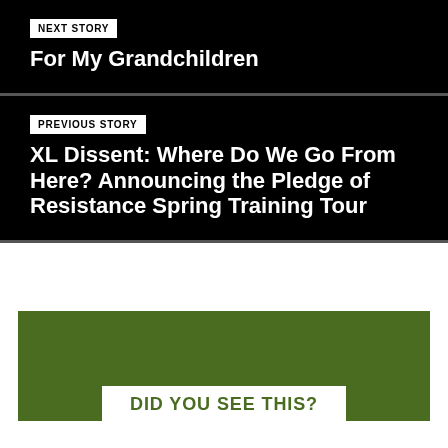NEXT STORY
For My Grandchildren
PREVIOUS STORY
XL Dissent: Where Do We Go From Here? Announcing the Pledge of Resistance Spring Training Tour
DID YOU SEE THIS?